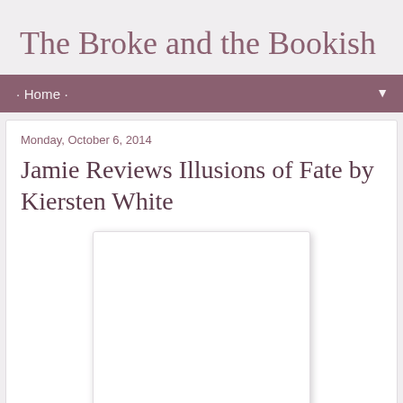The Broke and the Bookish
· Home ·
Monday, October 6, 2014
Jamie Reviews Illusions of Fate by Kiersten White
[Figure (other): Book cover image placeholder for Illusions of Fate by Kiersten White]